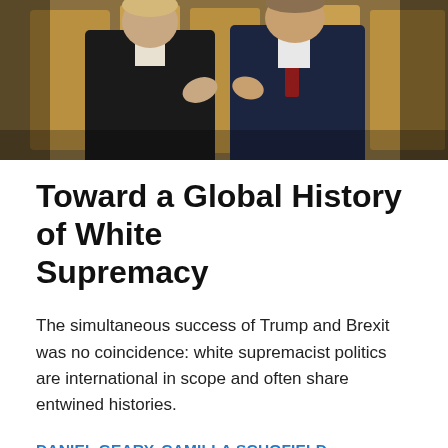[Figure (photo): Two men in dark suits shaking hands or gesturing in front of an ornate gold background. One wears a red tie.]
Toward a Global History of White Supremacy
The simultaneous success of Trump and Brexit was no coincidence: white supremacist politics are international in scope and often share entwined histories.
DANIEL GEARY, CAMILLA SCHOFIELD, JENNIFER SUTTON